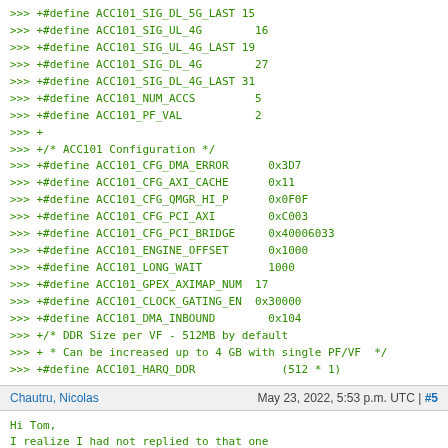>>> +#define ACC101_SIG_DL_5G_LAST 15
>>> +#define ACC101_SIG_UL_4G        16
>>> +#define ACC101_SIG_UL_4G_LAST 19
>>> +#define ACC101_SIG_DL_4G        27
>>> +#define ACC101_SIG_DL_4G_LAST 31
>>> +#define ACC101_NUM_ACCS         5
>>> +#define ACC101_PF_VAL           2
>>> +
>>> +/* ACC101 Configuration */
>>> +#define ACC101_CFG_DMA_ERROR      0x3D7
>>> +#define ACC101_CFG_AXI_CACHE      0x11
>>> +#define ACC101_CFG_QMGR_HI_P      0x0F0F
>>> +#define ACC101_CFG_PCI_AXI        0xC003
>>> +#define ACC101_CFG_PCI_BRIDGE     0x40006033
>>> +#define ACC101_ENGINE_OFFSET      0x1000
>>> +#define ACC101_LONG_WAIT          1000
>>> +#define ACC101_GPEX_AXIMAP_NUM  17
>>> +#define ACC101_CLOCK_GATING_EN  0x30000
>>> +#define ACC101_DMA_INBOUND        0x104
>>> +/* DDR Size per VF - 512MB by default
>>> + * Can be increased up to 4 GB with single PF/VF  */
>>> +#define ACC101_HARQ_DDR             (512 * 1)
Chautru, Nicolas    May 23, 2022, 5:53 p.m. UTC | #5
Hi Tom,
I realize I had not replied to that one

> -----Original Message-----
> From: Tom Rix <trix@redhat.com>